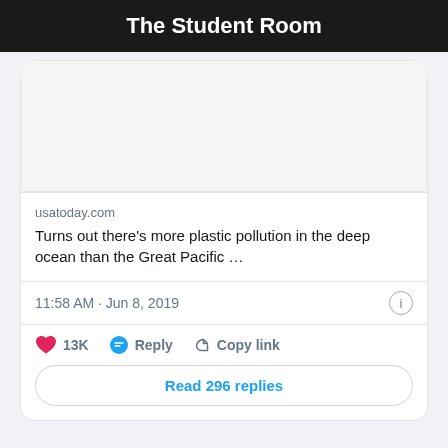The Student Room
[Figure (screenshot): Tweet card screenshot showing a link preview from usatoday.com with headline 'Turns out there's more plastic pollution in the deep ocean than the Great Pacific ...' with timestamp 11:58 AM · Jun 8, 2019, 13K likes, Reply, Copy link actions, and Read 296 replies button]
In fact, The Student Room found that most students are worried about climate issues: